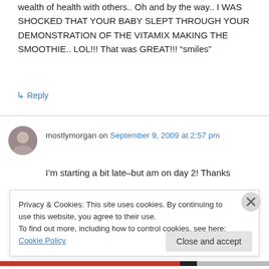wealth of health with others.. Oh and by the way.. I WAS SHOCKED THAT YOUR BABY SLEPT THROUGH YOUR DEMONSTRATION OF THE VITAMIX MAKING THE SMOOTHIE.. LOL!!! That was GREAT!!! “smiles”
↳ Reply
mostlymorgan on September 9, 2009 at 2:57 pm
I’m starting a bit late–but am on day 2! Thanks so much for posting the challenge again, I feel
Privacy & Cookies: This site uses cookies. By continuing to use this website, you agree to their use.
To find out more, including how to control cookies, see here: Cookie Policy
Close and accept